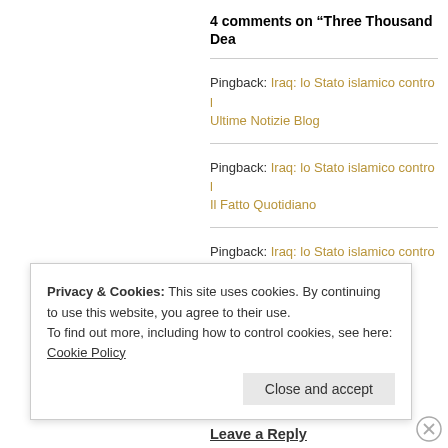4 comments on “Three Thousand Dea…”
Pingback: Iraq: lo Stato islamico contro l… Ultime Notizie Blog
Pingback: Iraq: lo Stato islamico contro l… Il Fatto Quotidiano
Pingback: Iraq: lo Stato islamico contro l… Notizie italiane in tempo reale!
Privacy & Cookies: This site uses cookies. By continuing to use this website, you agree to their use.
To find out more, including how to control cookies, see here: Cookie Policy
Leave a Reply